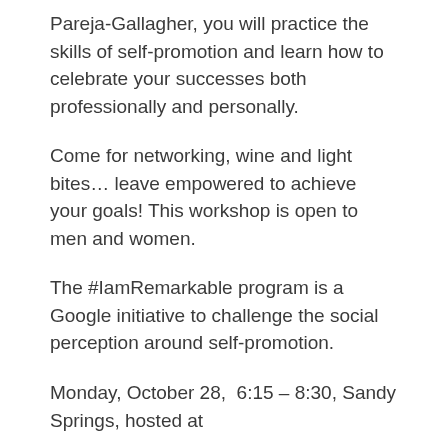Pareja-Gallagher, you will practice the skills of self-promotion and learn how to celebrate your successes both professionally and personally.
Come for networking, wine and light bites… leave empowered to achieve your goals! This workshop is open to men and women.
The #IamRemarkable program is a Google initiative to challenge the social perception around self-promotion.
Monday, October 28,  6:15 – 8:30, Sandy Springs, hosted at